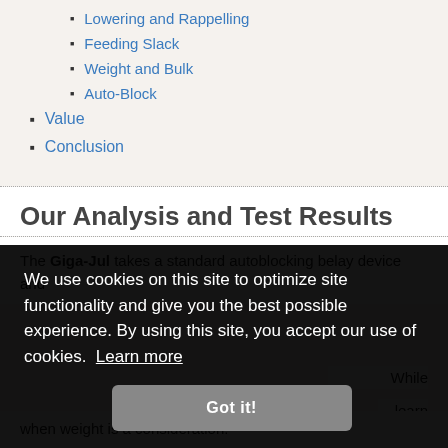Lowering and Rappelling
Feeding Slack
Weight and Bulk
Auto-Block
Value
Conclusion
Our Analysis and Test Results
The Giga-Jul takes a standard autoblocking belay device and ... While ... learn ... rst. ... es, ... s or when weight is a consideration.
We use cookies on this site to optimize site functionality and give you the best possible experience. By using this site, you accept our use of cookies. Learn more